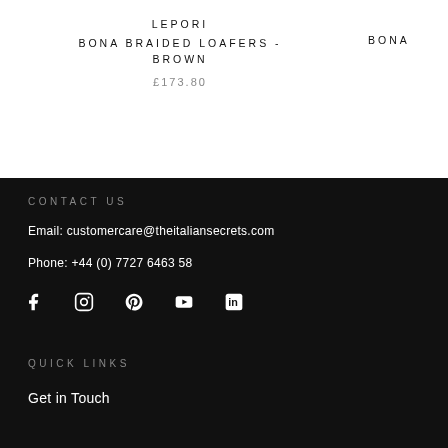LEPORI
BONA BRAIDED LOAFERS - BROWN
£173.80
BONA
CONTACT US
Email: customercare@theitaliansecrets.com
Phone: +44 (0) 7727 6463 58
[Figure (infographic): Social media icons: Facebook, Instagram, Pinterest, YouTube, LinkedIn]
QUICK LINKS
Get in Touch